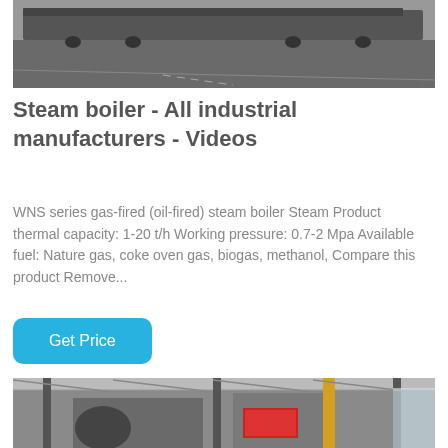[Figure (photo): Black and white photo of trucks/trailers on a paved area outdoors]
Steam boiler - All industrial manufacturers - Videos
WNS series gas-fired (oil-fired) steam boiler Steam Product thermal capacity: 1-20 t/h Working pressure: 0.7-2 Mpa Available fuel: Nature gas, coke oven gas, biogas, methanol, Compare this product Remove...
[Figure (photo): Photo of industrial boiler equipment inside a large factory/warehouse with metal structure and yellow pipes]